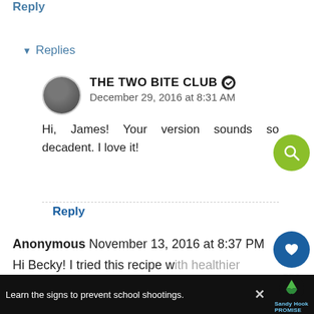Reply
▾ Replies
THE TWO BITE CLUB ✔
December 29, 2016 at 8:31 AM
Hi, James! Your version sounds so decadent. I love it!
Reply
Anonymous November 13, 2016 at 8:37 PM
Hi Becky! I tried this recipe w ingredients such as extra-lean turkey sausages
WHAT'S NEXT → Sheet Pan Eggplant...
Learn the signs to prevent school shootings.